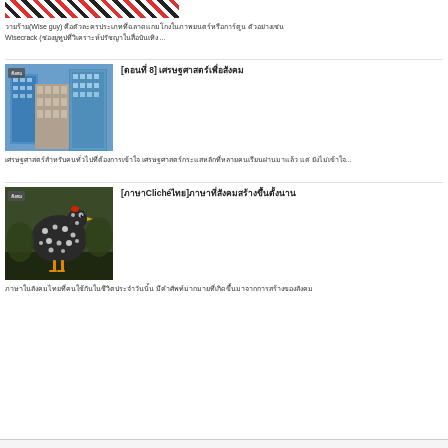[Figure (photo): Partial view of a decorative pattern image at top of page (red, white, black pattern)]
วายร้าย(Wise guy) คือตัวละครประเภทที่ฉลาดแกมโกงในภาพยนตร์หรือการ์ตูน ตัวอย่างเช่น Wisecrack (ช่องยูทูปที่วิเคราะห์ปรัชญาในสื่อบันเทิง ...
[Figure (photo): Photo of tall city buildings / skyscrapers viewed from below]
[ตอนที่ 8] เศรษฐศาสตร์เพื่อสังคม
เศรษฐศาสตร์สำหรับคนทั่วไปที่ต้องการเข้าใจ เศรษฐศาสตร์กระแสหลักที่หลายคนเรียนผ่านมาแล้ว แต่ยังไม่เข้าใจ...
[Figure (photo): Photo of a speckled black and white chicken/hen in a garden]
[ภาษาClichéไทย]ภาษาที่สังคมสร้างขึ้นตั้งนาน
ภาษาในสังคมไทยที่คนใช้กันในชีวิตประจำวันนั้น มีคำศัพท์มากมายที่เกิดขึ้นมาจากการสร้างของสังคม